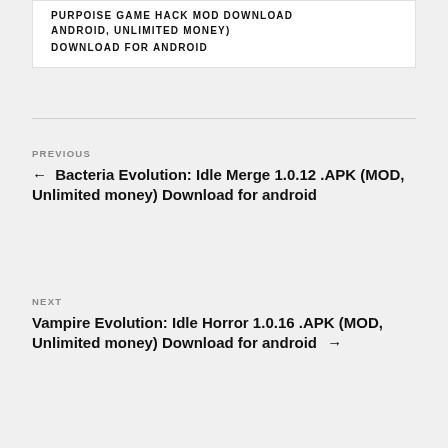PURPOISE GAME HACK MOD DOWNLOAD ANDROID, UNLIMITED MONEY) DOWNLOAD FOR ANDROID
← Bacteria Evolution: Idle Merge 1.0.12 .APK (MOD, Unlimited money) Download for android
Vampire Evolution: Idle Horror 1.0.16 .APK (MOD, Unlimited money) Download for android →